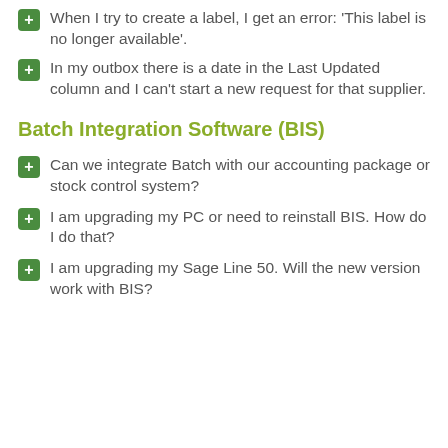When I try to create a label, I get an error: 'This label is no longer available'.
In my outbox there is a date in the Last Updated column and I can't start a new request for that supplier.
Batch Integration Software (BIS)
Can we integrate Batch with our accounting package or stock control system?
I am upgrading my PC or need to reinstall BIS. How do I do that?
I am upgrading my Sage Line 50. Will the new version work with BIS?